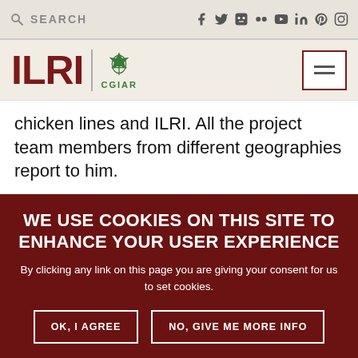SEARCH | social icons bar
[Figure (logo): ILRI CGIAR logo with hamburger menu button]
chicken lines and ILRI. All the project team members from different geographies report to him.
COUNTRIES I WORK IN
Cambodia Ethiopia Ghana Kenya Nigeria Tanzania
WE USE COOKIES ON THIS SITE TO ENHANCE YOUR USER EXPERIENCE

By clicking any link on this page you are giving your consent for us to set cookies.

OK, I AGREE   NO, GIVE ME MORE INFO